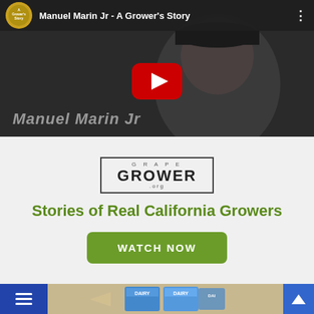[Figure (screenshot): YouTube video thumbnail showing a man wearing a dark cap and jacket with YouTube play button overlay. Video title bar reads 'Manuel Marin Jr - A Grower's Story' with channel icon on the left and options menu on the right. Text 'Manuel Marin Jr' appears at the bottom of the thumbnail.]
[Figure (logo): Grape Grower .org logo — bordered rectangle with 'GRAPE' in small caps above, 'GROWER' in large bold letters, and '.org' below.]
Stories of Real California Growers
WATCH NOW
[Figure (screenshot): Bottom navigation bar with hamburger menu icon on blue background, partial image of dairy products (Dairy Milk), and blue scroll-to-top button with arrow.]